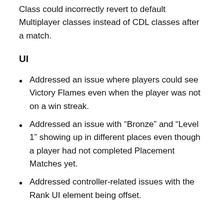Class could incorrectly revert to default Multiplayer classes instead of CDL classes after a match.
UI
Addressed an issue where players could see Victory Flames even when the player was not on a win streak.
Addressed an issue with “Bronze” and “Level 1” showing up in different places even though a player had not completed Placement Matches yet.
Addressed controller-related issues with the Rank UI element being offset.